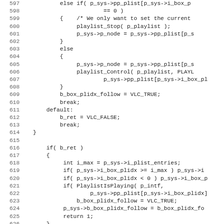[Figure (other): Source code listing in C, lines 597–628, showing playlist control logic in VLC media player source code]